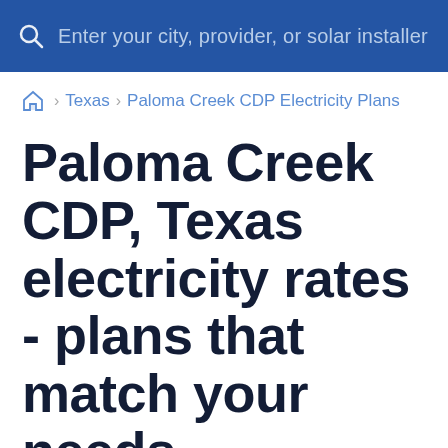Enter your city, provider, or solar installer
⌂ › Texas › Paloma Creek CDP Electricity Plans
Paloma Creek CDP, Texas electricity rates - plans that match your needs
Enter your zip code to compare Paloma Creek CDP electricity rates and plans